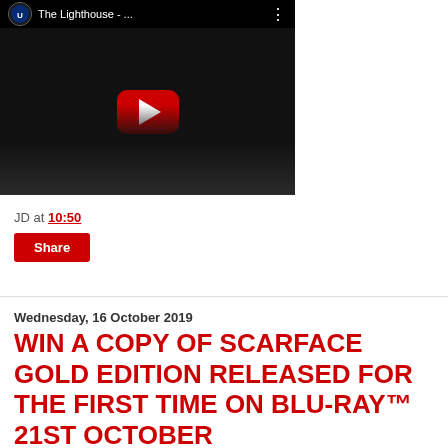[Figure (screenshot): YouTube video thumbnail for 'The Lighthouse - ...' with Universal logo, black and white film still, and red play button in center]
JD at 10:50
Share
Wednesday, 16 October 2019
WIN A COPY OF SCARFACE GOLD EDITION RELEASED FOR THE FIRST TIME ON BLU-RAY™ 21ST OCTOBER